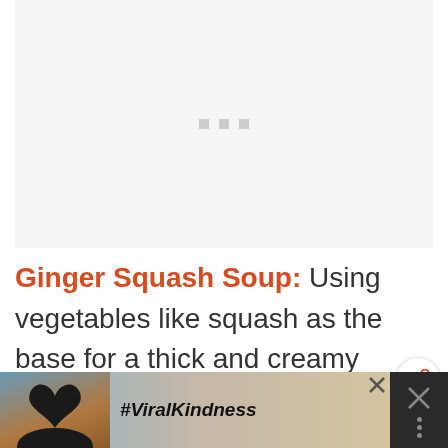[Figure (photo): Light gray placeholder image with three small gray square dots centered, representing an image loading area]
Ginger Squash Soup: Using vegetables like squash as the base for a thick and creamy soup is not only cost effective, but a
[Figure (other): Advertisement banner showing #ViralKindness with hands forming a heart shape against a sunset sky background]